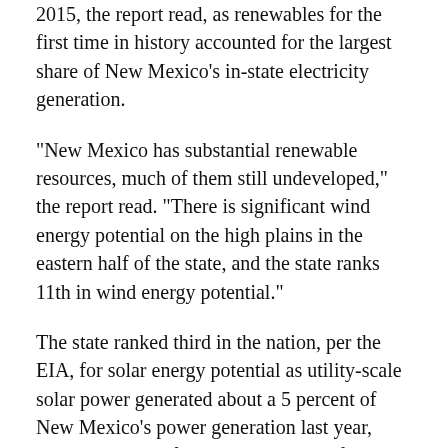2015, the report read, as renewables for the first time in history accounted for the largest share of New Mexico's in-state electricity generation.
“New Mexico has substantial renewable resources, much of them still undeveloped,” the report read. “There is significant wind energy potential on the high plains in the eastern half of the state, and the state ranks 11th in wind energy potential.”
The state ranked third in the nation, per the EIA, for solar energy potential as utility-scale solar power generated about a 5 percent of New Mexico’s power generation last year, with small-scale facilities accounting for 1 percent.
“New Mexico’s climate is typified by abundant sunshine, and the state ranks third in the nation, after Nevada and Arizona, in solar energy potential,” the report read.
Garcia Richard said New Mexico’s solar and wind power sectors were expected to continue their growth in the coming years, to harness the abundant resources, she